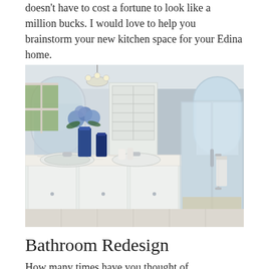doesn't have to cost a fortune to look like a million bucks. I would love to help you brainstorm your new kitchen space for your Edina home.
[Figure (photo): Elegant bathroom interior with white cabinetry, double sinks with marble countertop, blue flower vase, chandelier, arched mirrors, and a glass-enclosed shower with white tile and towel rail.]
Bathroom Redesign
How many times have you thought of